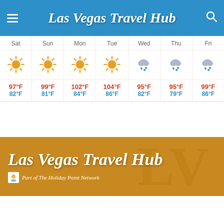Las Vegas Travel Hub
| Sat | Sun | Mon | Tue | Wed | Thu | Fri |
| --- | --- | --- | --- | --- | --- | --- |
| ☀ | ☀ | ☀ | ☀ | 🌧 | 🌧 | 🌧 |
| 97°F / 82°F | 99°F / 81°F | 102°F / 84°F | 104°F / 86°F | 95°F / 82°F | 95°F / 79°F | 99°F / 86°F |
[Figure (logo): Las Vegas Travel Hub logo on golden/amber background with 'Part of The Holiday Point Network' subtitle]
Las Vegas Travel Hub — Part of The Holiday Point Network